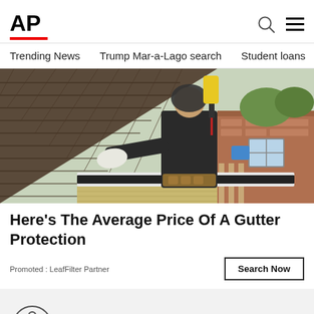AP
Trending News   Trump Mar-a-Lago search   Student loans   U.S.
[Figure (photo): Worker installing or cleaning gutter protection on a residential rooftop, holding a white gutter guard panel, with roof shingles visible and a yellow power drill in the background. Trees and a house are visible in the background.]
Here's The Average Price Of A Gutter Protection
Promoted : LeafFilter Partner
[Figure (other): Accessibility/assistive technology icon: a person with arms outstretched inside a circle, with a small X close button]